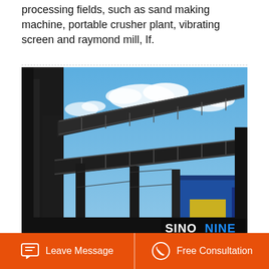processing fields, such as sand making machine, portable crusher plant, vibrating screen and raymond mill, If.
[Figure (photo): Industrial conveyor belt and steel structure plant photographed from a low angle against a blue sky with clouds. A SINONINE watermark logo appears in the bottom-right corner.]
Used Peterson Sawmills For Sale Peterson Portable
Leave Message   Free Consultation